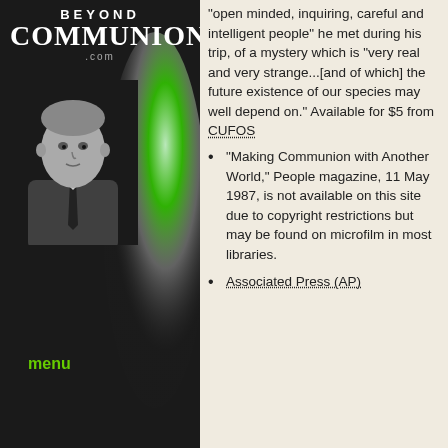[Figure (logo): BeyondCommunion.com logo with white text on dark background]
[Figure (photo): Black and white photo of a man in a suit, grayscale, on dark textured background with green oval design element]
menu
"open minded, inquiring, careful and intelligent people" he met during his trip, of a mystery which is "very real and very strange...[and of which] the future existence of our species may well depend on." Available for $5 from CUFOS
"Making Communion with Another World," People magazine, 11 May 1987, is not available on this site due to copyright restrictions but may be found on microfilm in most libraries.
Associated Press (AP)